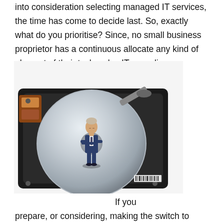into consideration selecting managed IT services, the time has come to decide last. So, exactly what do you prioritise? Since, no small business proprietor has a continuous allocate any kind of element of their tasks, also IT remedies.
[Figure (photo): A miniature businessman figurine standing on top of a computer hard disk drive (HDD), arms crossed, wearing a dark suit. The HDD shows its silver platter and mechanical arm. White background.]
If you prepare, or considering, making the switch to managed IT services, ask yourself these questions: